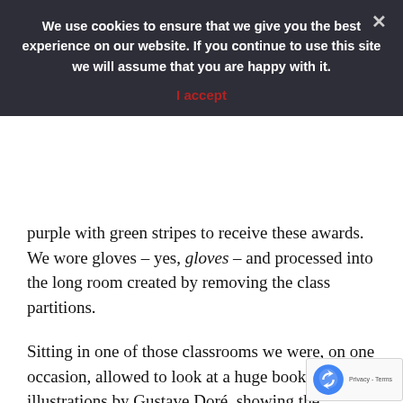We use cookies to ensure that we give you the best experience on our website. If you continue to use this site we will assume that you are happy with it.
I accept
purple with green stripes to receive these awards. We wore gloves – yes, gloves – and processed into the long room created by removing the class partitions.
Sitting in one of those classrooms we were, on one occasion, allowed to look at a huge book of illustrations by Gustave Doré, showing the progress of the human heart. In the first picture the outlined heart was completely pure and innocent, inhabited only by doves and lambs. But, alas, on the next page faults began to creep in. As the pages turned, more and more vices appeared: anger, avarice, pride, greed and so on, symbolised by animals, such as the tiger for anger, pig for greed, the lion for pride. The presiding nun